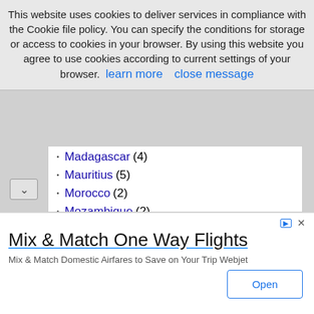This website uses cookies to deliver services in compliance with the Cookie file policy. You can specify the conditions for storage or access to cookies in your browser. By using this website you agree to use cookies according to current settings of your browser.  learn more     close message
Madagascar (4)
Mauritius (5)
Morocco (2)
Mozambique (2)
Namibia (11)
Reunion (2)
Rwanda (2)
São Tomé and Príncipe (2)
Senegal (2)
Seychelles (6)
South Africa (41)
Mix & Match One Way Flights
Mix & Match Domestic Airfares to Save on Your Trip Webjet
Open